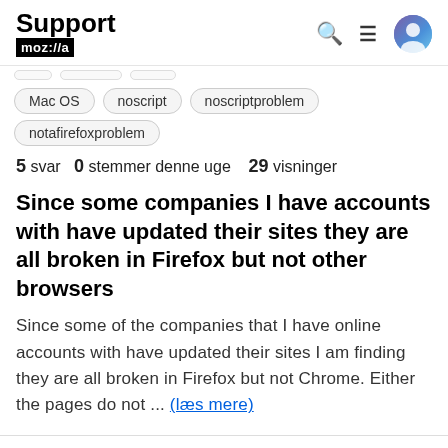Support moz://a
Mac OS
noscript
noscriptproblem
notafirefoxproblem
5 svar  0 stemmer denne uge  29 visninger
Since some companies I have accounts with have updated their sites they are all broken in Firefox but not other browsers
Since some of the companies that I have online accounts with have updated their sites I am finding they are all broken in Firefox but not Chrome. Either the pages do not ... (læs mere)
Stillet af Casey for 2 år siden
Besvaret af Casey for 2 år siden